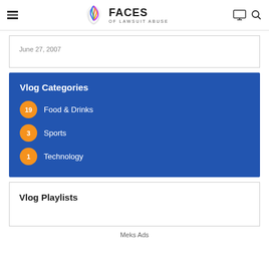FACES OF LAWSUIT ABUSE
June 27, 2007
Vlog Categories
19 Food & Drinks
3 Sports
1 Technology
Vlog Playlists
Meks Ads